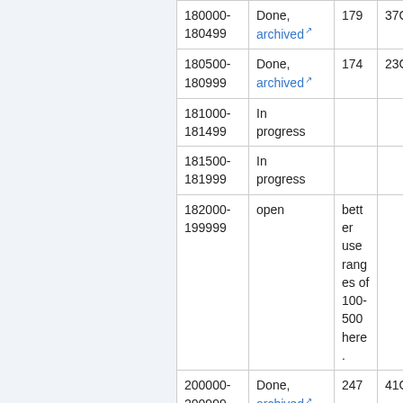| Range | Status | Count | Size |
| --- | --- | --- | --- |
| 180000-180499 | Done, archived (link) | 179 | 37G |
| 180500-180999 | Done, archived (link) | 174 | 23G |
| 181000-181499 | In progress |  |  |
| 181500-181999 | In progress |  |  |
| 182000-199999 | open | better use ranges of 100-500 here. |  |
| 200000-200999 | Done, archived (link) (bad URL) | 247 | 41G |
|  |  | better |  |